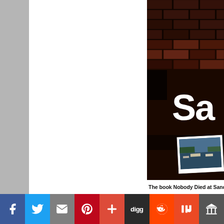[Figure (photo): Photo of a dark brick wall with large white letters 'Sa' visible and a photograph/print leaning against the wall showing boats on water. Dark atmospheric image.]
The book Nobody Died at Sand
[Figure (infographic): Social media share bar with icons for Facebook, Twitter, Email, Pinterest, Plus/Google+, Digg, Reddit, Mix/StumbleUpon, and Archive.org]